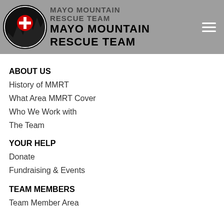[Figure (logo): Mayo Mountain Rescue Team circular logo with cross and mountain silhouette, alongside text 'MAYO MOUNTAIN RESCUE TEAM']
ABOUT US
History of MMRT
What Area MMRT Cover
Who We Work with
The Team
YOUR HELP
Donate
Fundraising & Events
TEAM MEMBERS
Team Member Area